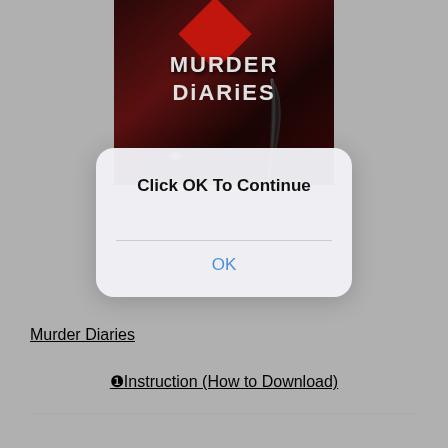[Figure (illustration): Book cover for 'Murder Diaries' showing dark red background with a diamond shape, the title text in stylized font, a feather quill, and a glowing light spot]
Click OK To Continue
OK
Murder Diaries
❶Instruction (How to Download)